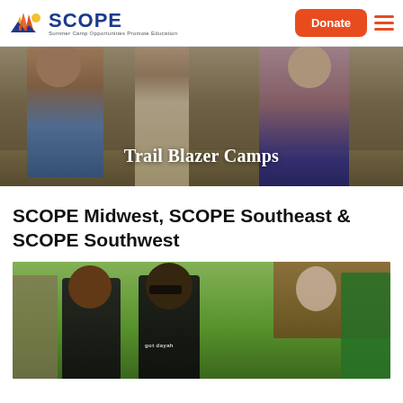SCOPE – Summer Camp Opportunities Promote Education | Donate
[Figure (photo): Children outdoors at camp with text overlay 'Trail Blazer Camps']
SCOPE Midwest, SCOPE Southeast & SCOPE Southwest
[Figure (photo): Two children in black shirts smiling outdoors at camp, surrounded by other participants]